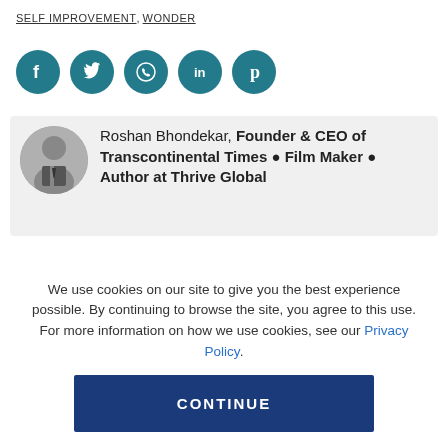SELF IMPROVEMENT, WONDER
[Figure (infographic): Five social media icon buttons (Facebook, Twitter, WhatsApp, LinkedIn, Pinterest) shown as teal circular icons with white symbols]
[Figure (photo): Circular grayscale portrait photo of Roshan Bhondekar in a suit, next to author bio text on gray background. Text reads: Roshan Bhondekar, Founder & CEO of Transcontinental Times • Film Maker • Author at Thrive Global]
We use cookies on our site to give you the best experience possible. By continuing to browse the site, you agree to this use. For more information on how we use cookies, see our Privacy Policy.
CONTINUE